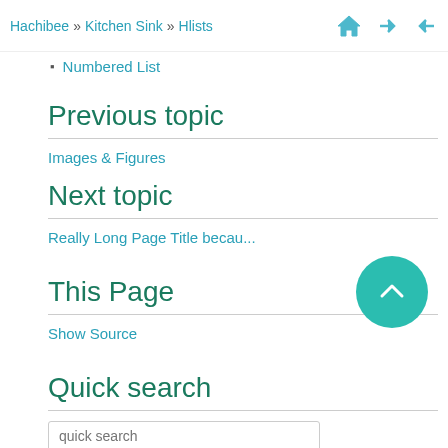Hachibee » Kitchen Sink » Hlists
Numbered List
Previous topic
Images & Figures
Next topic
Really Long Page Title becau...
This Page
Show Source
Quick search
quick search